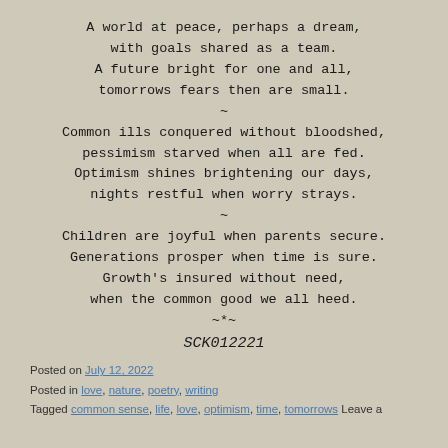A world at peace, perhaps a dream,
with goals shared as a team.
A future bright for one and all,
tomorrows fears then are small.
~
Common ills conquered without bloodshed,
pessimism starved when all are fed.
Optimism shines brightening our days,
nights restful when worry strays.
~
Children are joyful when parents secure.
Generations prosper when time is sure.
Growth's insured without need,
when the common good we all heed.
~*~
SCK012221
Posted on July 12, 2022
Posted in love, nature, poetry, writing
Tagged common sense, life, love, optimism, time, tomorrows Leave a